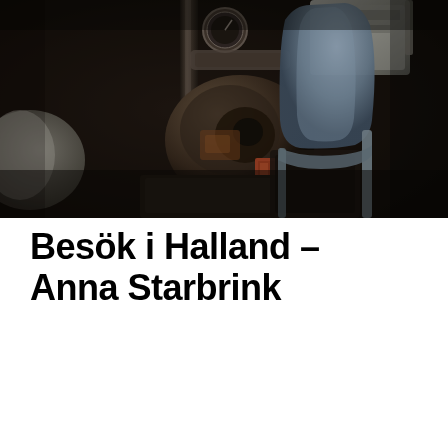[Figure (photo): Dark industrial workshop scene with rusty heavy machinery and motor equipment in the background, and a blue-grey metal folding chair in the foreground right. The setting appears to be an old factory or workshop with dim lighting and worn, rusted metal surfaces.]
Besök i Halland – Anna Starbrink